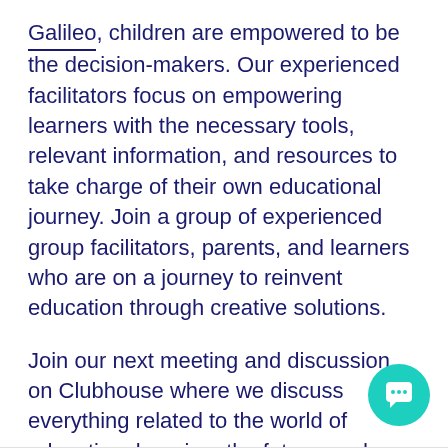Galileo, children are empowered to be the decision-makers. Our experienced facilitators focus on empowering learners with the necessary tools, relevant information, and resources to take charge of their own educational journey. Join a group of experienced group facilitators, parents, and learners who are on a journey to reinvent education through creative solutions.
Join our next meeting and discussion on Clubhouse where we discuss everything related to the world of education, learning, the future, and more. Are you interested in learning with us? Stay up to date with our future events he...
[Figure (illustration): Teal circular chat/support bubble icon in the bottom-right corner]